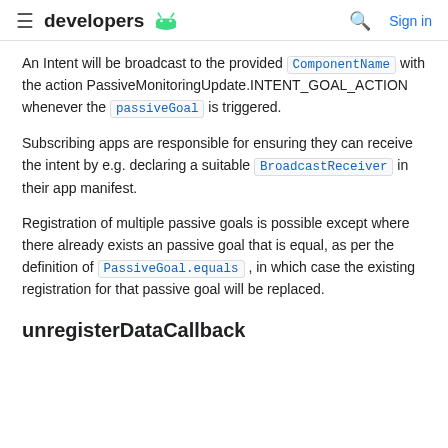developers
An Intent will be broadcast to the provided ComponentName with the action PassiveMonitoringUpdate.INTENT_GOAL_ACTION whenever the passiveGoal is triggered.
Subscribing apps are responsible for ensuring they can receive the intent by e.g. declaring a suitable BroadcastReceiver in their app manifest.
Registration of multiple passive goals is possible except where there already exists an passive goal that is equal, as per the definition of PassiveGoal.equals, in which case the existing registration for that passive goal will be replaced.
unregisterDataCallback